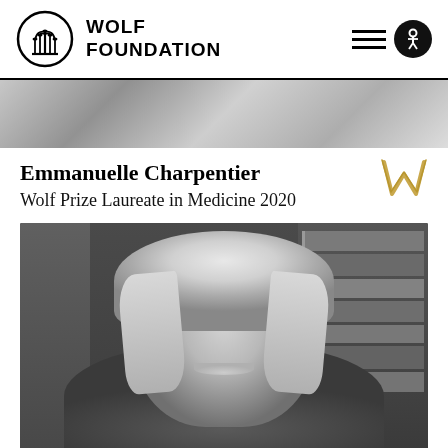[Figure (logo): Wolf Foundation logo — circular menorah emblem with WOLF FOUNDATION text in bold uppercase]
[Figure (photo): Grayscale banner photo showing blurred background]
Emmanuelle Charpentier
Wolf Prize Laureate in Medicine 2020
[Figure (photo): Black and white portrait photo of Emmanuelle Charpentier smiling, with bookshelves in the background]